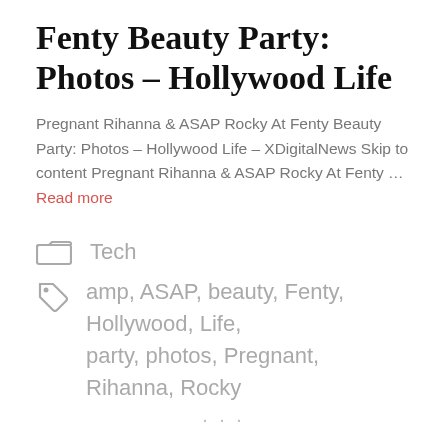Fenty Beauty Party: Photos – Hollywood Life
Pregnant Rihanna & ASAP Rocky At Fenty Beauty Party: Photos – Hollywood Life – XDigitalNews Skip to content Pregnant Rihanna & ASAP Rocky At Fenty … Read more
Tech
amp, ASAP, beauty, Fenty, Hollywood, Life, party, photos, Pregnant, Rihanna, Rocky